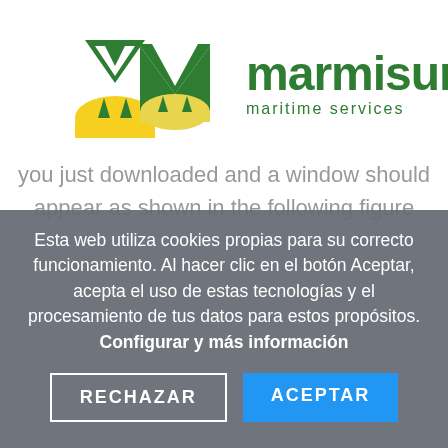[Figure (logo): Marmisur Maritime Services logo with stylized M icon in dark green and yellow, and company name in green text]
you just downloaded and a window should appear as shown in the following figure
Esta web utiliza cookies propias para su correcto funcionamiento. Al hacer clic en el botón Aceptar, acepta el uso de estas tecnologías y el procesamiento de tus datos para estos propósitos. Configurar y más información
RECHAZAR
ACEPTAR